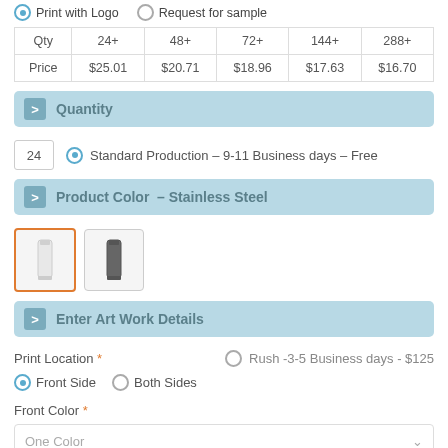Print with Logo  Request for sample
| Qty | 24+ | 48+ | 72+ | 144+ | 288+ |
| --- | --- | --- | --- | --- | --- |
| Price | $25.01 | $20.71 | $18.96 | $17.63 | $16.70 |
Quantity
24   Standard Production – 9-11 Business days – Free
Product Color  – Stainless Steel
[Figure (photo): Two stainless steel tumblers: white (selected, orange border) and dark gray]
Enter Art Work Details
Print Location *    Rush -3-5 Business days - $125
Front Side   Both Sides
Front Color *
One Color